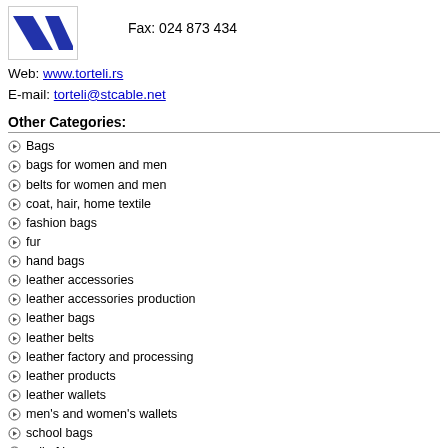[Figure (logo): Blue diagonal stripes logo (Tortelli company logo)]
Fax: 024 873 434
Web: www.torteli.rs
E-mail: torteli@stcable.net
Other Categories:
Bags
bags for women and men
belts for women and men
coat, hair, home textile
fashion bags
fur
hand bags
leather accessories
leather accessories production
leather bags
leather belts
leather factory and processing
leather products
leather wallets
men's and women's wallets
school bags
sell of bags
¤ "Tortelli" production of leather goods ¤
[Figure (photo): Product photo showing leather goods/belts]